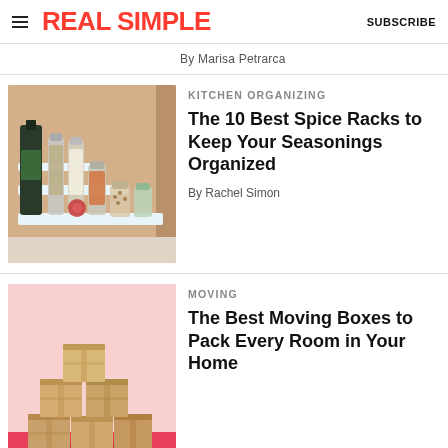REAL SIMPLE | SUBSCRIBE
By Marisa Petrarca
[Figure (photo): Spice rack organizer inside a kitchen cabinet with various spice jars and bottles arranged on tiered white shelves]
KITCHEN ORGANIZING
The 10 Best Spice Racks to Keep Your Seasonings Organized
By Rachel Simon
[Figure (photo): Stack of cardboard moving boxes arranged in a pyramid shape on a pink background]
MOVING
The Best Moving Boxes to Pack Every Room in Your Home